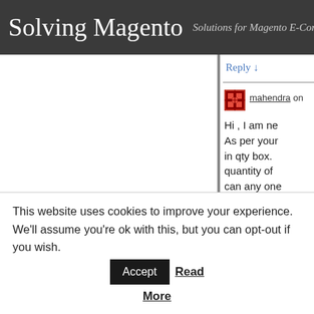Solving Magento — Solutions for Magento E-Commerce
Reply ↓
mahendra on
Hi , I am ne As per your in qty box. quantity of can any one Thanks all
This website uses cookies to improve your experience. We'll assume you're ok with this, but you can opt-out if you wish. Accept Read More